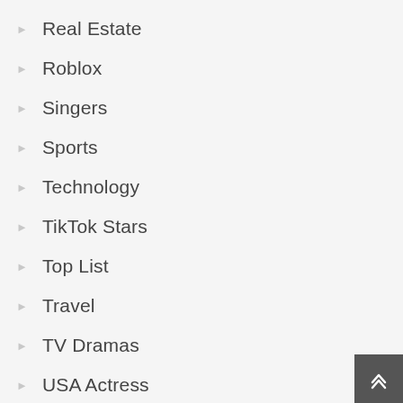Real Estate
Roblox
Singers
Sports
Technology
TikTok Stars
Top List
Travel
TV Dramas
USA Actress
Videos
Web Series